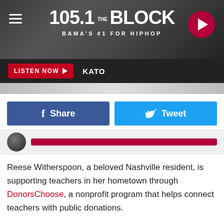[Figure (screenshot): 105.1 The Block radio station banner — BAMA'S #1 FOR HIPHOP — with dark background, hamburger menu icon on left, play button on right]
[Figure (screenshot): Listen Now bar with red LISTEN NOW button and KATO text on dark background]
[Figure (screenshot): Social share buttons row: blue Facebook Share button and cyan Twitter Tweet button]
[Figure (screenshot): Audio player bar with circular thumbnail and dark red progress bar]
Reese Witherspoon, a beloved Nashville resident, is supporting teachers in her hometown through DonorsChoose, a nonprofit program that helps connect teachers with public donations.
Through her project, Witherspoon hopes to support teachers in the Metro Nashville Public School system by helping